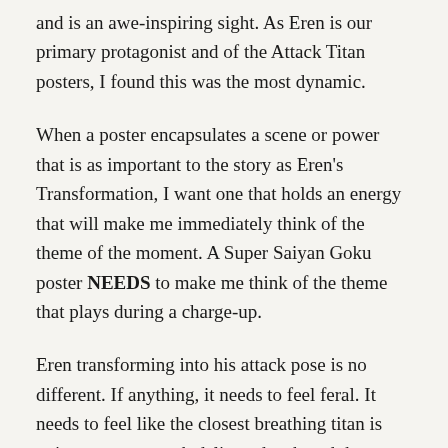and is an awe-inspiring sight. As Eren is our primary protagonist and of the Attack Titan posters, I found this was the most dynamic.
When a poster encapsulates a scene or power that is as important to the story as Eren's Transformation, I want one that holds an energy that will make me immediately think of the theme of the moment. A Super Saiyan Goku poster NEEDS to make me think of the theme that plays during a charge-up.
Eren transforming into his attack pose is no different. If anything, it needs to feel feral. It needs to feel like the closest breathing titan is going to get a punch delivered so heard they would have rathered a sledgehammer. This poster does that job beautifully.